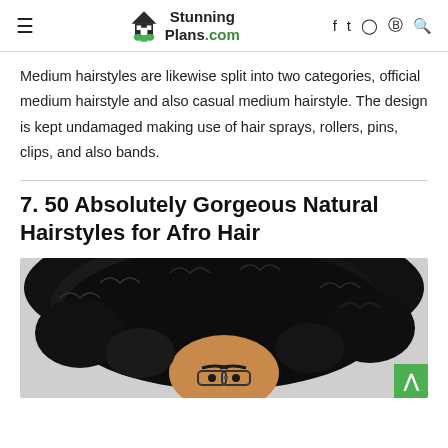≡  StunningPlans.com  f  tw  IG  P  🔍
Medium hairstyles are likewise split into two categories, official medium hairstyle and also casual medium hairstyle. The design is kept undamaged making use of hair sprays, rollers, pins, clips, and also bands.
7. 50 Absolutely Gorgeous Natural Hairstyles for Afro Hair
[Figure (photo): Photo of a woman with large natural afro hair, viewed from slightly above, showing curly black hair and face with glasses]